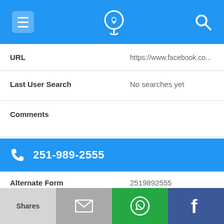App navigation bar with menu, phone/location icon, and search icon
| Field | Value |
| --- | --- |
| URL | https://www.facebook.co... |
| Last User Search | No searches yet |
| Comments |  |
251-989-2555
| Field | Value |
| --- | --- |
| Alternate Form | 2519892555 |
| Caller name | Care House Satellite Site |
| Last User Search | No searches yet |
Shares | Email | WhatsApp | Facebook